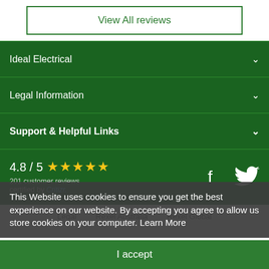View All reviews
Ideal Electrical
Legal Information
Support & Helpful Links
4.8 / 5 ★★★★★ 201 customer reviews certified by Critizr
Legal  Rexel Australia  Rexel Global
This Website uses cookies to ensure you get the best experience on our website. By accepting you agree to allow us store cookies on your computer. Learn More
I accept